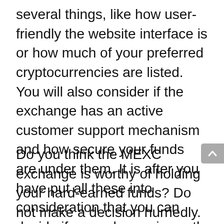several things, like how user-friendly the website interface is or how much of your preferred cryptocurrencies are listed. You will also consider if the exchange has an active customer support mechanism and how secure your funds are under them. It is after you have put all these into consideration that you can decide if an exchange is worth your time or not.
Do you think the MEXC exchange is worthy of holding your hard-earned funds? Do not make a decision hurriedly. Take time to go through this article and consider the facts. You'll be glad you did.